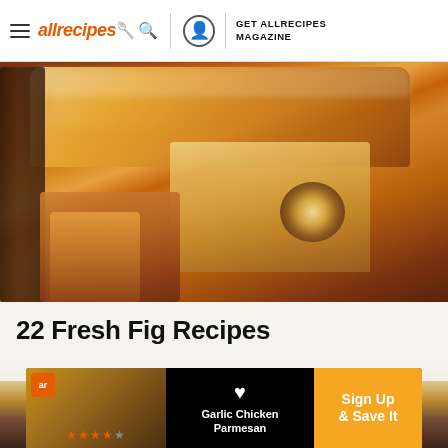allrecipes | GET ALLRECIPES MAGAZINE
[Figure (photo): Close-up photo of sliced fig bread dusted with powdered sugar in a baking pan]
22 Fresh Fig Recipes
[Figure (photo): Partial view of a baked fig tart or cake with dark fruit topping]
[Figure (photo): Advertisement banner showing Garlic Chicken Parmesan with star rating and Sign Up & Save It call-to-action]